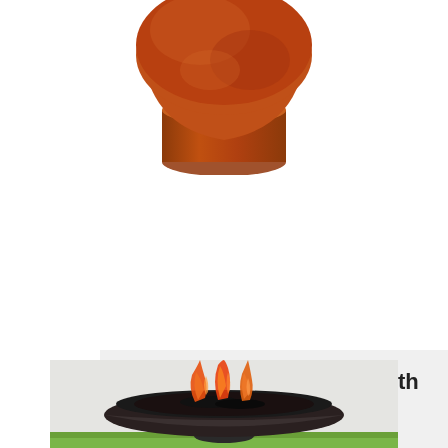[Figure (photo): Top portion of a deep cast iron fire pit with ring base, showing a rust-colored spherical bowl on a cylindrical ring base, cropped at the top of the page]
Deep Cast Iron Fire Pit With Ring Base
From $495.00
VIEW DETAILS
[Figure (photo): A wide shallow cast iron fire pit bowl with active flames and burning wood/charcoal inside, sitting on a short pedestal base, with green grass visible at the bottom edge]